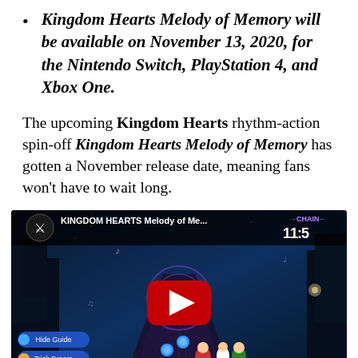Kingdom Hearts Melody of Memory will be available on November 13, 2020, for the Nintendo Switch, PlayStation 4, and Xbox One.
The upcoming Kingdom Hearts rhythm-action spin-off Kingdom Hearts Melody of Memory has gotten a November release date, meaning fans won't have to wait long.
[Figure (screenshot): YouTube video embed showing Kingdom Hearts Melody of Memory gameplay with a red play button in the center. The video title bar shows 'KINGDOM HEARTS Melody of Me...' with a '11:5' timer and 'CHAIN' indicator. Gameplay shows characters on a music track with various UI elements including 'Hide Guide' and 'Trick Dream' buttons.]